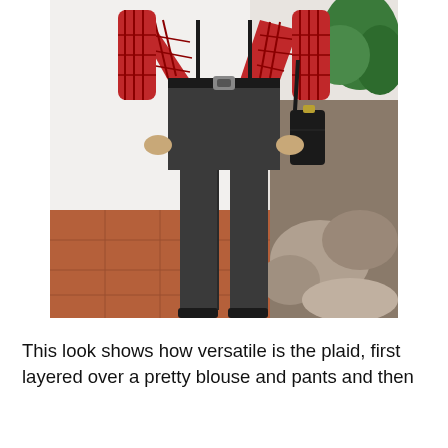[Figure (photo): A person standing outdoors wearing a red and black plaid/flannel shirt layered over dark charcoal/black high-waisted trousers with suspenders, a black belt with silver buckle, and carrying a black crossbody bag. A green leafy plant and rock garden are visible on the right. The floor is terracotta tile.]
This look shows how versatile is the plaid, first layered over a pretty blouse and pants and then